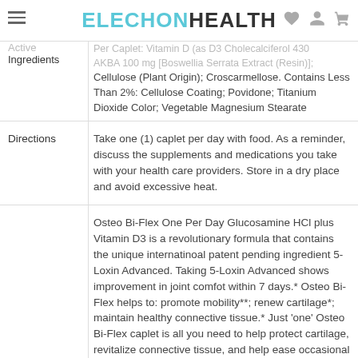ELECHON HEALTH
|  |  |
| --- | --- |
| Active Ingredients | Cellulose (Plant Origin); Croscarmellose. Contains Less Than 2%: Cellulose Coating; Povidone; Titanium Dioxide Color; Vegetable Magnesium Stearate |
| Directions | Take one (1) caplet per day with food. As a reminder, discuss the supplements and medications you take with your health care providers. Store in a dry place and avoid excessive heat. |
| Uses | Osteo Bi-Flex One Per Day Glucosamine HCl plus Vitamin D3 is a revolutionary formula that contains the unique internatinoal patent pending ingredient 5-Loxin Advanced. Taking 5-Loxin Advanced shows improvement in joint comfot within 7 days.* Osteo Bi-Flex helps to: promote mobility**; renew cartilage*; maintain healthy connective tissue.* Just 'one' Osteo Bi-Flex caplet is all you need to help protect cartilage, revitalize connective tissue, and help ease occasional joint stress.* *These statements have not been evaluated |